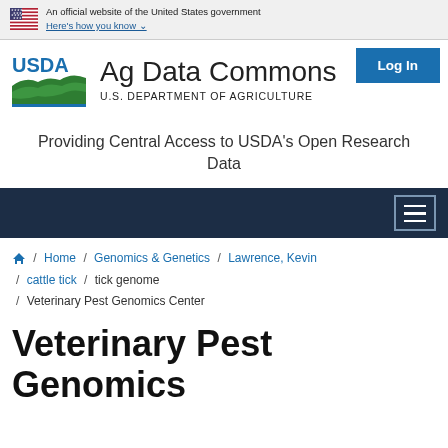An official website of the United States government Here's how you know
[Figure (logo): USDA Ag Data Commons logo with USDA seal and text 'Ag Data Commons / U.S. DEPARTMENT OF AGRICULTURE']
Providing Central Access to USDA's Open Research Data
Home / Genomics & Genetics / Lawrence, Kevin / cattle tick / tick genome / Veterinary Pest Genomics Center
Veterinary Pest Genomics